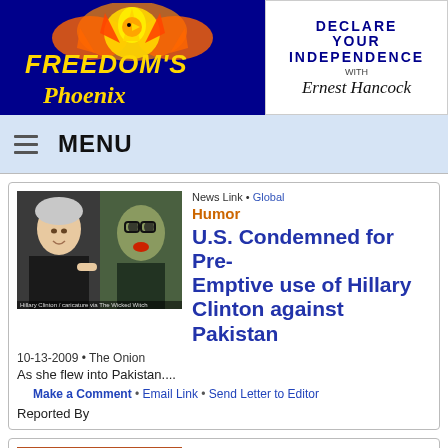[Figure (logo): Freedom's Phoenix logo with golden phoenix bird on dark blue background and yellow stylized text]
[Figure (logo): Declare Your Independence with Ernest Hancock logo, text and signature on white background]
MENU
[Figure (photo): Photo of Hillary Clinton on left and caricature figure on right]
News Link • Global
Humor
U.S. Condemned for Pre-Emptive use of Hillary Clinton against Pakistan
10-13-2009 • The Onion
As she flew into Pakistan....
Make a Comment • Email Link • Send Letter to Editor
Reported By
[Figure (photo): Warm-toned photo thumbnail for second article]
News Link • Global
Humor